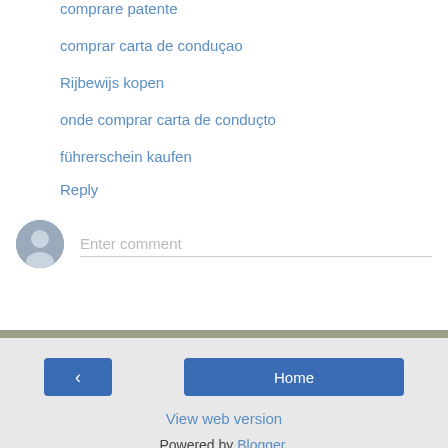comprare patente
comprar carta de conduçao
Rijbewijs kopen
onde comprar carta de conduçto
führerschein kaufen
Reply
Enter comment
< | Home | View web version | Powered by Blogger.